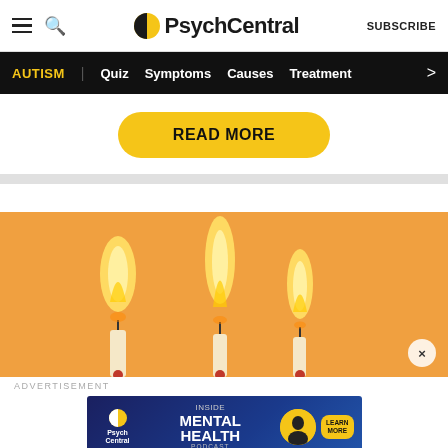PsychCentral — SUBSCRIBE
AUTISM | Quiz  Symptoms  Causes  Treatment >
READ MORE
[Figure (photo): Three lit matches or candles with flames against an orange background]
ADVERTISEMENT
[Figure (screenshot): PsychCentral advertisement banner: Inside Mental Health Podcast — Learn More]